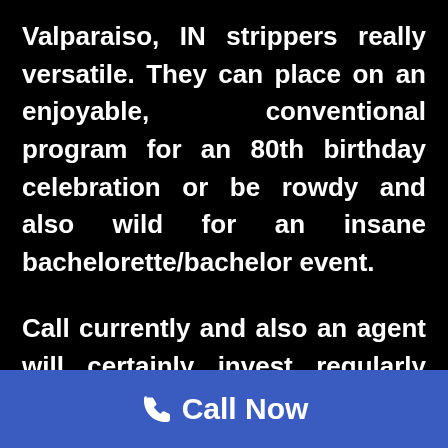Valparaiso, IN strippers really versatile. They can place on an enjoyable, conventional program for an 80th birthday celebration or be rowdy and also wild for an insane bachelorette/bachelor event.

Call currently and also an agent will certainly invest regularly needed to guarantee your event is a massive success.
[Figure (infographic): Blue footer bar with a white phone handset icon and bold white text 'Call Now']